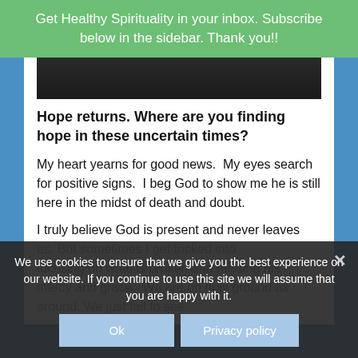Get Healthy Spirituality in your inbox. Subscribe below in the sidebar. Thank you!!
[Figure (photo): Dark textured image strip at top of article content area]
Hope returns. Where are you finding hope in these uncertain times?
My heart yearns for good news.  My eyes search for positive signs.  I beg God to show me he is still here in the midst of death and doubt.
I truly believe God is present and never leaves us. But sometimes I get tricked into focusing on what is broken and missing his mercy and grace.  We are on holy ground all around. We just fail to see.
We use cookies to ensure that we give you the best experience on our website. If you continue to use this site we will assume that you are happy with it.